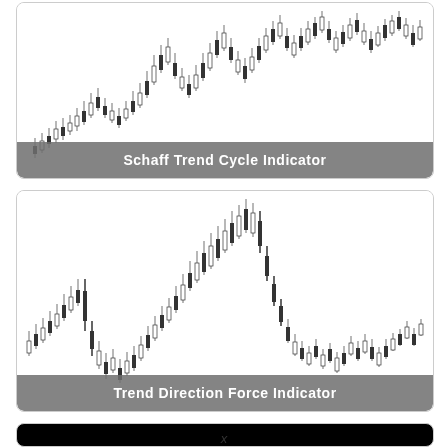[Figure (continuous-plot): Candlestick/price chart showing Schaff Trend Cycle Indicator with upward trend, black and white candlesticks on white background]
[Figure (continuous-plot): Candlestick/price chart showing Trend Direction Force Indicator with a peak in the right-center area, black and white candlesticks on white background]
[Figure (other): Third chart box with black background, partially visible at bottom of page]
x